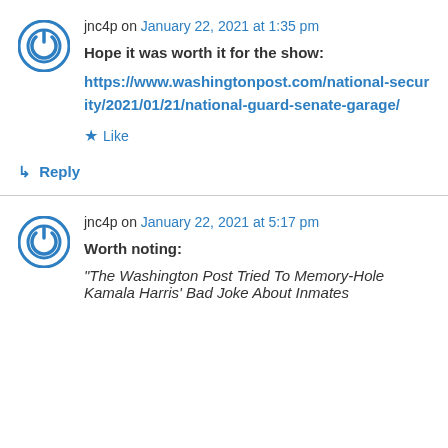jnc4p on January 22, 2021 at 1:35 pm
Hope it was worth it for the show:
https://www.washingtonpost.com/national-security/2021/01/21/national-guard-senate-garage/
Like
Reply
jnc4p on January 22, 2021 at 5:17 pm
Worth noting:
“The Washington Post Tried To Memory-Hole Kamala Harris’ Bad Joke About Inmates